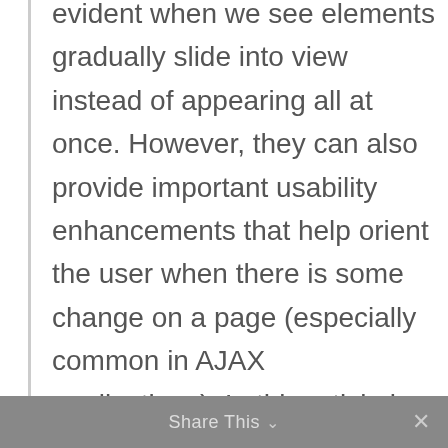evident when we see elements gradually slide into view instead of appearing all at once. However, they can also provide important usability enhancements that help orient the user when there is some change on a page (especially common in AJAX applications). In this article by Jonathan Chaffer and Karl Swedberg , we will explore a number of these effects and combine them in interesting ways.
Share This ∨  ✕